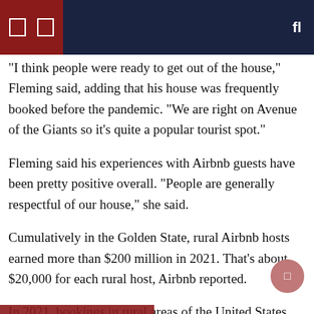“I think people were ready to get out of the house,” Fleming said, adding that his house was frequently booked before the pandemic. “We are right on Avenue of the Giants so it’s quite a popular tourist spot.”
Fleming said his experiences with Airbnb guests have been pretty positive overall. “People are generally respectful of our house,” she said.
Cumulatively in the Golden State, rural Airbnb hosts earned more than $200 million in 2021. That’s about $20,000 for each rural host, Airbnb reported.
In 2021, bookings in rural areas of the United States jumped 110% from 2019, earning Airbnb hosts more than $3.5 billion in 2021.